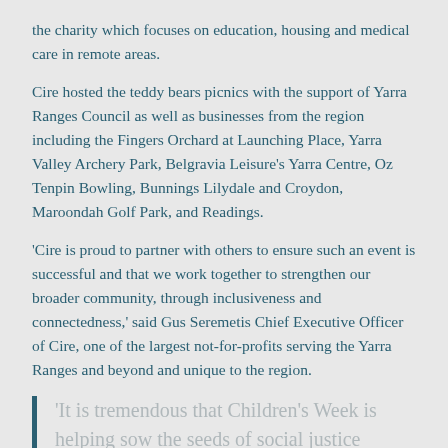the charity which focuses on education, housing and medical care in remote areas.
Cire hosted the teddy bears picnics with the support of Yarra Ranges Council as well as businesses from the region including the Fingers Orchard at Launching Place, Yarra Valley Archery Park, Belgravia Leisure's Yarra Centre, Oz Tenpin Bowling, Bunnings Lilydale and Croydon, Maroondah Golf Park, and Readings.
‘Cire is proud to partner with others to ensure such an event is successful and that we work together to strengthen our broader community, through inclusiveness and connectedness,’ said Gus Seremetis Chief Executive Officer of Cire, one of the largest not-for-profits serving the Yarra Ranges and beyond and unique to the region.
‘It is tremendous that Children’s Week is helping sow the seeds of social justice